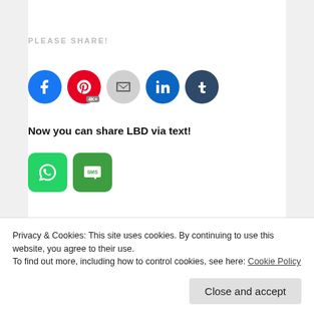PLEASE SHARE!
[Figure (other): Social share icons: Facebook, Pinterest (4K+), Email, LinkedIn, Tumblr]
Now you can share LBD via text!
[Figure (other): WhatsApp and SMS messaging app icons for sharing]
LIKE THIS:
[Figure (other): Like button and 7 blogger avatar thumbnails]
7 bloggers like this.
Privacy & Cookies: This site uses cookies. By continuing to use this website, you agree to their use. To find out more, including how to control cookies, see here: Cookie Policy
Close and accept